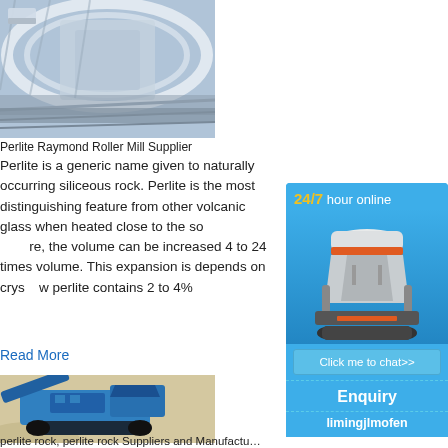[Figure (photo): Aerial or close-up view of a Raymond Roller Mill industrial machinery, showing circular white housing structure with mechanical components above.]
Perlite Raymond Roller Mill Supplier
Perlite is a generic name given to naturally occurring siliceous rock. Perlite is the most distinguishing feature from other volcanic glass when heated close to the so…re, the volume can be increased 4 to 24 times volume. This expansion is depends on crys…w perlite contains 2 to 4%
Read More
[Figure (infographic): Side panel advertisement: 24/7 hour online chat widget with image of a cone crusher machine, 'Click me to chat>>' button, 'Enquiry' section, and 'limingjlmofen' text, all on blue background.]
[Figure (photo): Blue mobile crushing machine (jaw crusher on tracks) positioned on sandy/rocky ground.]
perlite rock, perlite rock Suppliers and Manufactu…